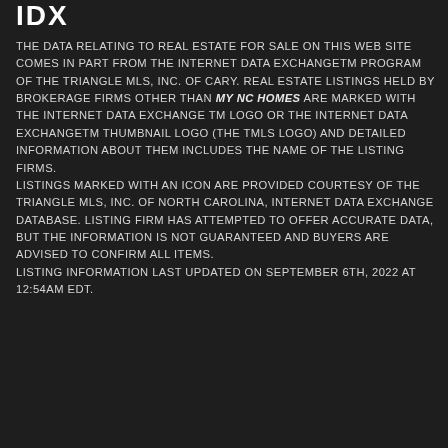[Figure (logo): IDX logo in white text on dark background]
THE DATA RELATING TO REAL ESTATE FOR SALE ON THIS WEB SITE COMES IN PART FROM THE INTERNET DATA EXCHANGETM PROGRAM OF THE TRIANGLE MLS, INC. OF CARY. REAL ESTATE LISTINGS HELD BY BROKERAGE FIRMS OTHER THAN MY NC HOMES ARE MARKED WITH THE INTERNET DATA EXCHANGE TM LOGO OR THE INTERNET DATA EXCHANGETM THUMBNAIL LOGO (THE TMLS LOGO) AND DETAILED INFORMATION ABOUT THEM INCLUDES THE NAME OF THE LISTING FIRMS.
LISTINGS MARKED WITH AN ICON ARE PROVIDED COURTESY OF THE TRIANGLE MLS, INC. OF NORTH CAROLINA, INTERNET DATA EXCHANGE DATABASE. LISTING FIRM HAS ATTEMPTED TO OFFER ACCURATE DATA, BUT THE INFORMATION IS NOT GUARANTEED AND BUYERS ARE ADVISED TO CONFIRM ALL ITEMS.
LISTING INFORMATION LAST UPDATED ON SEPTEMBER 6TH, 2022 AT 12:54AM EDT.